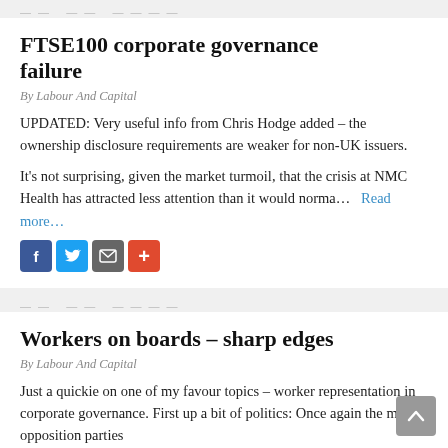FTSE100 corporate governance failure
By Labour And Capital
UPDATED: Very useful info from Chris Hodge added – the ownership disclosure requirements are weaker for non-UK issuers.
It's not surprising, given the market turmoil, that the crisis at NMC Health has attracted less attention than it would norma… Read more…
[Figure (infographic): Social sharing icons: Facebook (blue), Twitter (light blue), email/bookmark (grey), plus (red/orange)]
Workers on boards – sharp edges
By Labour And Capital
Just a quickie on one of my favour topics – worker representation in corporate governance. First up a bit of politics: Once again the main opposition parties